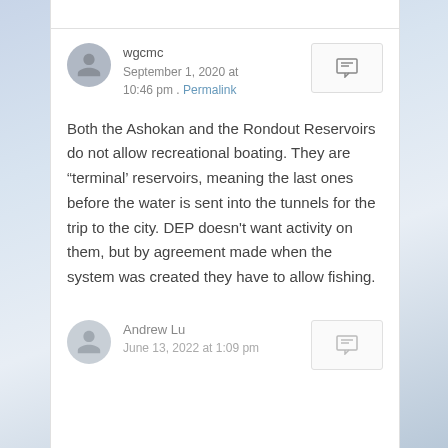wgcmc
September 1, 2020 at 10:46 pm . Permalink
Both the Ashokan and the Rondout Reservoirs do not allow recreational boating. They are “terminal’ reservoirs, meaning the last ones before the water is sent into the tunnels for the trip to the city. DEP doesn't want activity on them, but by agreement made when the system was created they have to allow fishing.
Andrew Lu
June 13, 2022 at 1:09 pm